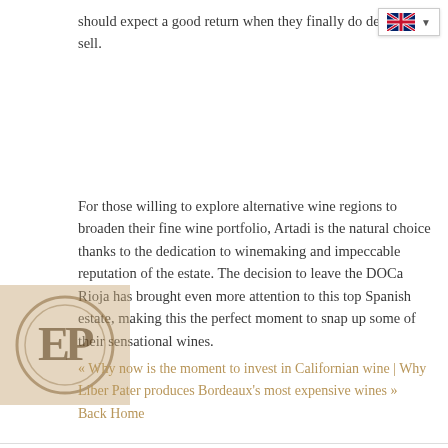should expect a good return when they finally do decide to sell.
[Figure (logo): Language selector with UK flag and dropdown arrow in top right corner]
For those willing to explore alternative wine regions to broaden their fine wine portfolio, Artadi is the natural choice thanks to the dedication to winemaking and impeccable reputation of the estate. The decision to leave the DOCa Rioja has brought even more attention to this top Spanish estate, making this the perfect moment to snap up some of their sensational wines.
[Figure (logo): Circular EP logo watermark in gold/tan color on left side]
« Why now is the moment to invest in Californian wine | Why Liber Pater produces Bordeaux's most expensive wines » Back Home